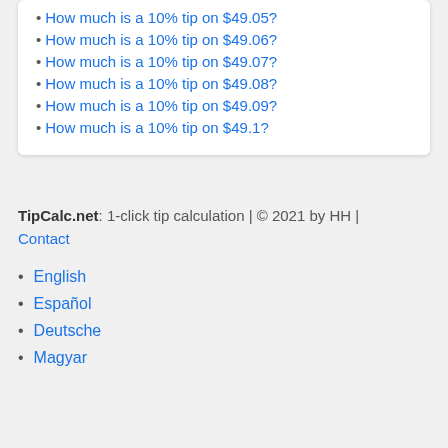How much is a 10% tip on $49.05?
How much is a 10% tip on $49.06?
How much is a 10% tip on $49.07?
How much is a 10% tip on $49.08?
How much is a 10% tip on $49.09?
How much is a 10% tip on $49.1?
TipCalc.net: 1-click tip calculation | © 2021 by HH | Contact
English
Español
Deutsche
Magyar